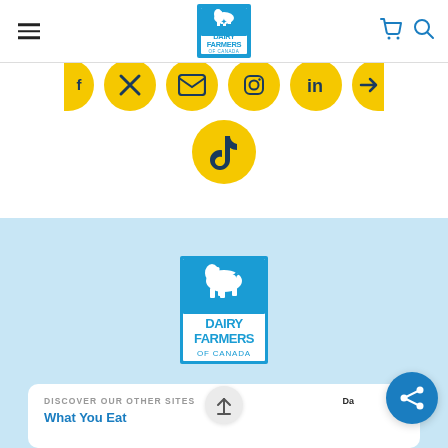[Figure (screenshot): Dairy Farmers of Canada website header with hamburger menu, centered logo, cart and search icons]
[Figure (screenshot): Row of yellow circular social media icons (Facebook, Twitter, YouTube/email, Instagram partial, LinkedIn, partial) and a TikTok icon below]
[Figure (logo): Dairy Farmers of Canada logo on light blue background]
DISCOVER OUR OTHER SITES
What You Eat